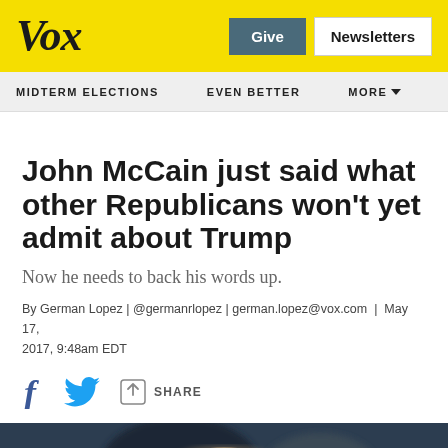Vox
Give | Newsletters
MIDTERM ELECTIONS   EVEN BETTER   MORE
John McCain just said what other Republicans won't yet admit about Trump
Now he needs to back his words up.
By German Lopez | @germanrlopez | german.lopez@vox.com | May 17, 2017, 9:48am EDT
[Figure (infographic): Social share icons: Facebook f icon, Twitter bird icon, share/link icon with text SHARE]
[Figure (photo): Close-up photo of John McCain's face, partially visible, dark blurred background]